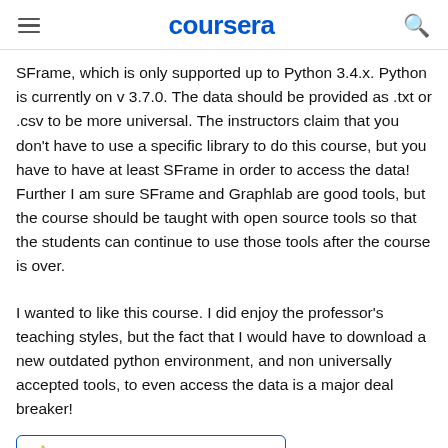coursera
SFrame, which is only supported up to Python 3.4.x. Python is currently on v 3.7.0. The data should be provided as .txt or .csv to be more universal. The instructors claim that you don't have to use a specific library to do this course, but you have to have at least SFrame in order to access the data! Further I am sure SFrame and Graphlab are good tools, but the course should be taught with open source tools so that the students can continue to use those tools after the course is over.
I wanted to like this course. I did enjoy the professor's teaching styles, but the fact that I would have to download a new outdated python environment, and non universally accepted tools, to even access the data is a major deal breaker!